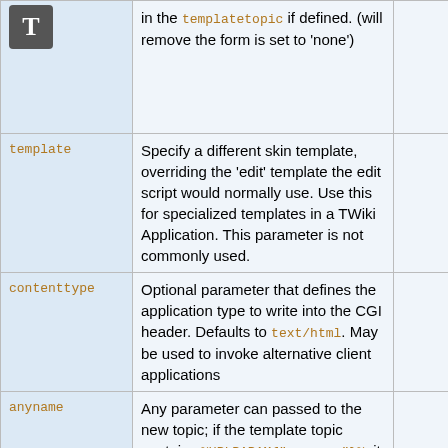| Parameter | Description |  |
| --- | --- | --- |
|  | in the templatetopic if defined. (will remove the form is set to 'none') |  |
| template | Specify a different skin template, overriding the 'edit' template the edit script would normally use. Use this for specialized templates in a TWiki Application. This parameter is not commonly used. |  |
| contenttype | Optional parameter that defines the application type to write into the CGI header. Defaults to text/html. May be used to invoke alternative client applications |  |
| anyname | Any parameter can passed to the new topic; if the template topic contains %URLPARAM{"anyname"}%, it will be replaced by its value |  |
| breaklock | If set, any lease conflicts will be ignored, and the edit will proceed even if someone is already editing |  |